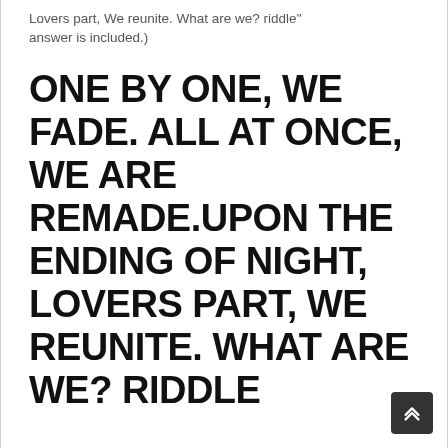Lovers part, We reunite. What are we? riddle" answer is included.)
ONE BY ONE, WE FADE. ALL AT ONCE, WE ARE REMADE.UPON THE ENDING OF NIGHT, LOVERS PART, WE REUNITE. WHAT ARE WE? RIDDLE